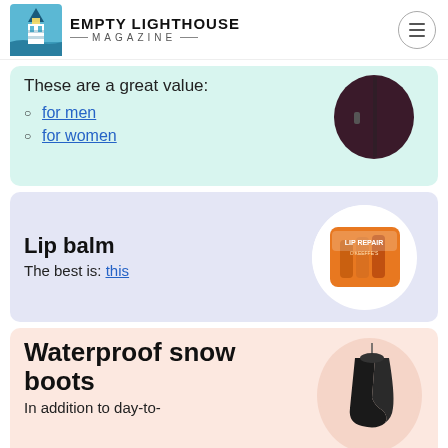EMPTY LIGHTHOUSE MAGAZINE
These are a great value:
for men
for women
[Figure (photo): Dark maroon/purple jacket product image]
Lip balm
The best is: this
[Figure (photo): O'Keeffe's Lip Repair lip balm sticks product image on orange packaging]
Waterproof snow boots
In addition to day-to-
[Figure (photo): Black waterproof snow boot product image]